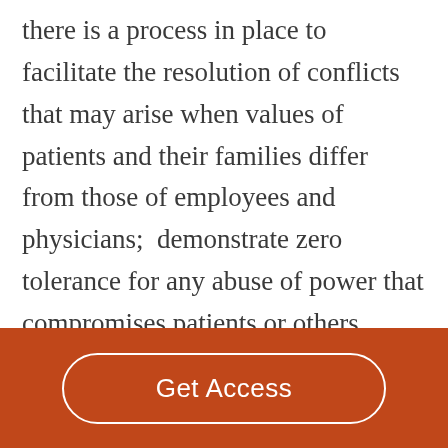there is a process in place to facilitate the resolution of conflicts that may arise when values of patients and their families differ from those of employees and physicians;  demonstrate zero tolerance for any abuse of power that compromises patients or others served; work to provide a process that ensures the autonomy and self-determination of patients or others served; work to ensure the existence of procedures that will safeguard the confidentiality and privacy of
Get Access